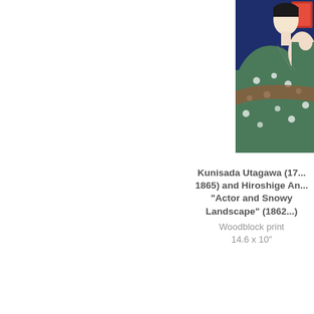[Figure (illustration): Japanese woodblock print showing an actor figure in green kimono with white floral pattern against a dark blue background, partially cropped at the right edge. A small red/orange cartouche is visible in the upper right.]
Kunisada Utagawa (17...-1865) and Hiroshige An... "Actor and Snowy Landscape" (1862...) Woodblock print 14.6 x 10"